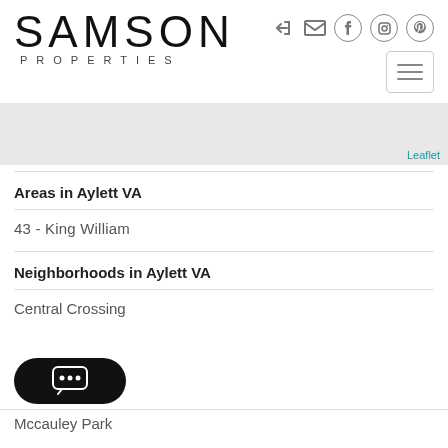SAMSON PROPERTIES
[Figure (map): Gray map area with Leaflet link in bottom right]
Areas in Aylett VA
43 - King William
Neighborhoods in Aylett VA
Central Crossing
Mccauley Park